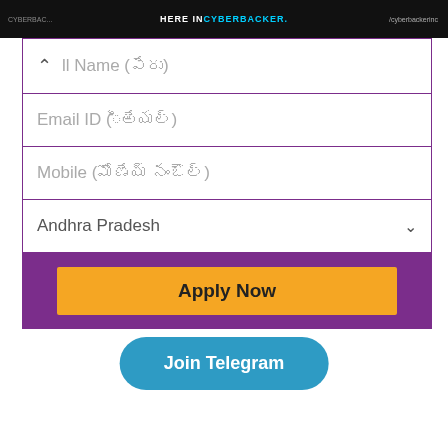[Figure (screenshot): Dark banner image with text 'HERE IN CYBERBACKER.' in yellow/cyan and '/cyberbackerinc' on the right]
ll Name (పేరు)
Email ID (ఇమెయిల్)
Mobile (మొబైల్ నంబర్)
Andhra Pradesh
Apply Now
Join Telegram